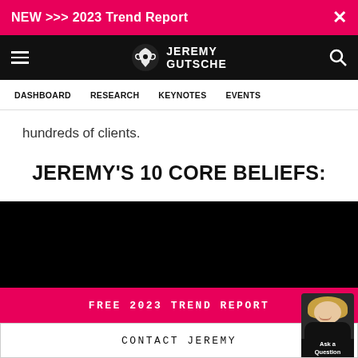NEW >>> 2023 Trend Report
[Figure (logo): Jeremy Gutsche logo with phoenix/eagle icon and text JEREMY GUTSCHE on black navigation bar with hamburger menu and search icon]
DASHBOARD  RESEARCH  KEYNOTES  EVENTS
hundreds of clients.
JEREMY'S 10 CORE BELIEFS:
[Figure (photo): Black background image area]
FREE 2023 TREND REPORT
CONTACT JEREMY
Ask a Question